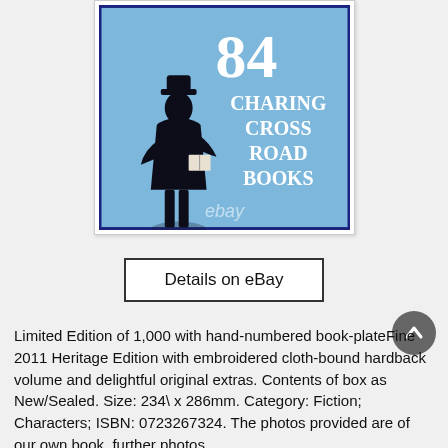[Figure (illustration): Book cover for '84 Charing Cross Road Books' on eBay — light blue background with silhouette of a man in a hat and coat reading a book, white text showing '84 CHARING CROSS ROAD BOOKS', and 'ebay' watermark below. Enclosed in a white card with thin border.]
Details on eBay
Limited Edition of 1,000 with hand-numbered book-plateFine 2011 Heritage Edition with embroidered cloth-bound hardback volume and delightful original extras. Contents of box as New/Sealed. Size: 234\ x 286mm. Category: Fiction; Characters; ISBN: 0723267324. The photos provided are of our own book, further photos